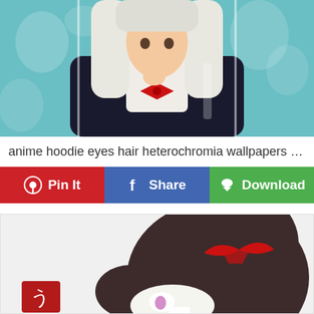[Figure (illustration): Anime character with long white hair wearing a black hoodie and red bow tie, set against a teal background with heart-shaped bokeh lights. Vertical stripe overlays give a paneled effect.]
anime hoodie eyes hair heterochromia wallpapers kaw...
[Figure (illustration): Button row with Pin It (red, Pinterest icon), Share (blue, Facebook icon), and Download (green, cloud-download icon) buttons.]
[Figure (illustration): Anime illustration of Monokuma (black and white bear) from Danganronpa, viewed from behind/above, wearing a dark hoodie with a red bat-wing symbol on the back, showing his face partially with a wide grin and pink eyes.]